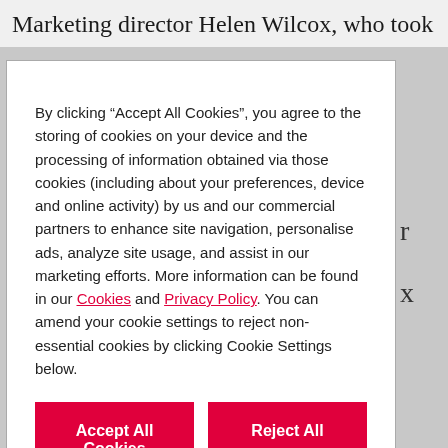Marketing director Helen Wilcox, who took
By clicking “Accept All Cookies”, you agree to the storing of cookies on your device and the processing of information obtained via those cookies (including about your preferences, device and online activity) by us and our commercial partners to enhance site navigation, personalise ads, analyze site usage, and assist in our marketing efforts. More information can be found in our Cookies and Privacy Policy. You can amend your cookie settings to reject non-essential cookies by clicking Cookie Settings below.
Accept All Cookies
Reject All
Cookies Settings